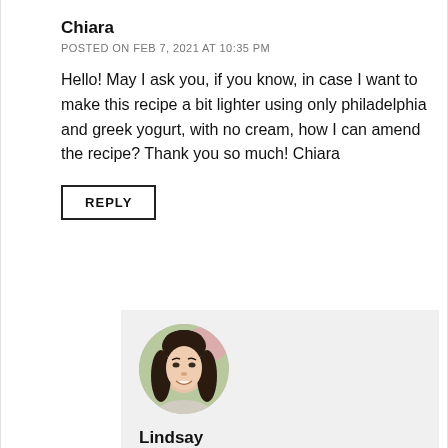Chiara
POSTED ON FEB 7, 2021 AT 10:35 PM
Hello! May I ask you, if you know, in case I want to make this recipe a bit lighter using only philadelphia and greek yogurt, with no cream, how I can amend the recipe? Thank you so much! Chiara
REPLY
[Figure (photo): Circular avatar photo of Lindsay, a woman with long dark hair, smiling, with a blurred floral background]
Lindsay
POSTED ON FEB 9, 2021 AT 6:01 AM
What do you mean by no cream? No whipping cream? You can't make this